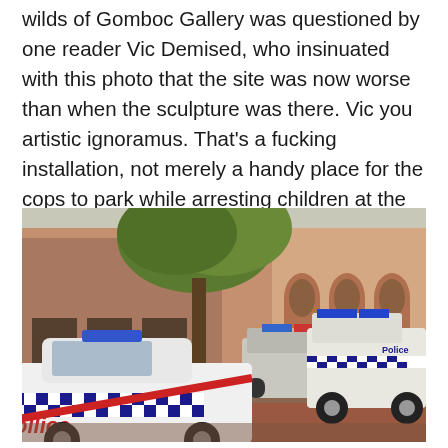wilds of Gomboc Gallery was questioned by one reader Vic Demised, who insinuated with this photo that the site was now worse than when the sculpture was there. Vic you artistic ignoramus. That's a fucking installation, not merely a handy place for the cops to park while arresting children at the station. Go back to Osborne Park Vic. Or Russia.
[Figure (photo): Street photograph showing multiple Australian police vehicles parked outside a red-brick heritage building. A white police sedan with blue and white checkered pattern and red stripe (partially showing 'ollice') is prominent in the foreground left. A white police pickup truck labeled 'Police' is on the right. Additional police vehicles are visible in the background. A large tree provides shade over the scene.]